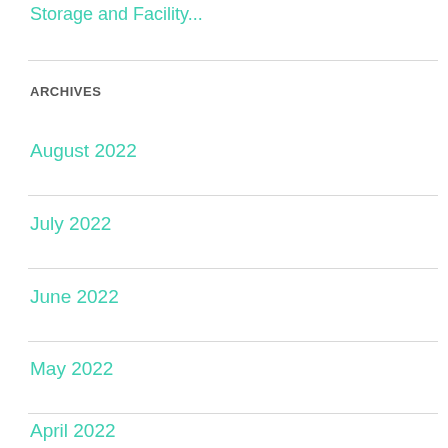Storage and Facility...
ARCHIVES
August 2022
July 2022
June 2022
May 2022
April 2022